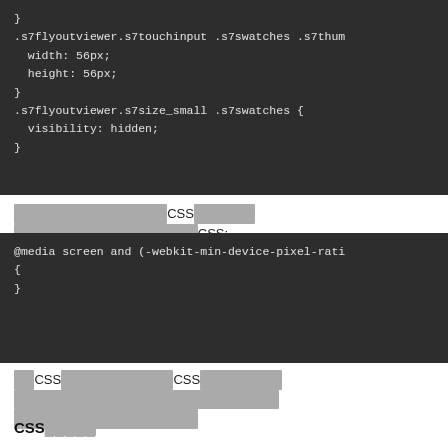[Figure (screenshot): Dark code block showing CSS rules for .s7flyoutviewer.s7touchinput .s7swatches .s7thumb with width: 56px; height: 56px; and .s7flyoutviewer.s7size_small .s7swatches { visibility: hidden; }]
[redacted text] CSS [redacted] [redacted longer text] CSS:
[Figure (screenshot): Dark code block showing @media screen and (-webkit-min-device-pixel-rati with { }]
[redacted] CSS [redacted] CSS [redacted] [long redacted text] [redacted]
CSS[redacted]